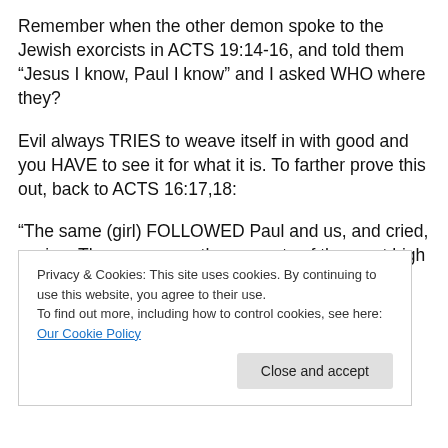Remember when the other demon spoke to the Jewish exorcists in ACTS 19:14-16, and told them “Jesus I know, Paul I know” and I asked WHO where they?
Evil always TRIES to weave itself in with good and you HAVE to see it for what it is. To farther prove this out, back to ACTS 16:17,18:
“The same (girl) FOLLOWED Paul and us, and cried, saying, These men are the servants of the most high God, which shew us the way of salvation. And this she did MANY DAYS but Paul BEING GRIEVED, (greatly
Privacy & Cookies: This site uses cookies. By continuing to use this website, you agree to their use.
To find out more, including how to control cookies, see here: Our Cookie Policy
Close and accept